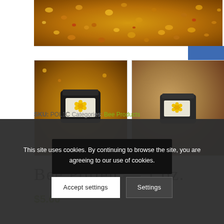[Figure (photo): Close-up photo of bee pollen granules in orange, yellow, and brown colors]
[Figure (photo): Two thumbnail images of bee pollen product jars against golden pollen background]
Bee Pollen — 1 oz.
$5.00
This site uses cookies. By continuing to browse the site, you are agreeing to our use of cookies.
Accept settings
Settings
SKU: POL1C Categories: Bee Products